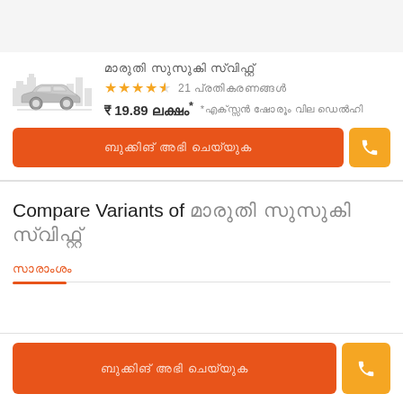[Figure (illustration): Car listing card with a gray car silhouette/icon on left, Indian-language text car name, 4.5 star rating with 21 reviews, price of ₹19.89 lakh with footnote]
₹ 19.89 लाख* *एक्सशोरूम कीमत दिल्ली
बुकिंग अभी करें (CTA button)
Compare Variants of [Indian language car name]
सारांश
बुकिंग अभी करें (bottom CTA button)